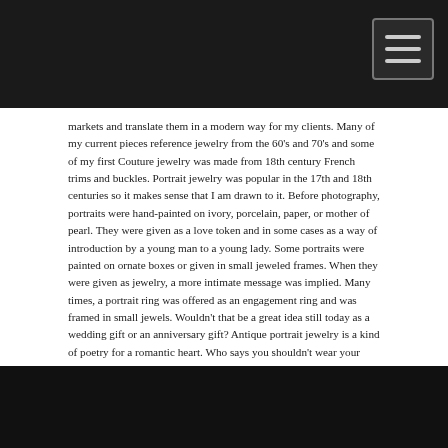markets and translate them in a modern way for my clients. Many of my current pieces reference jewelry from the 60's and 70's and some of my first Couture jewelry was made from 18th century French trims and buckles. Portrait jewelry was popular in the 17th and 18th centuries so it makes sense that I am drawn to it. Before photography, portraits were hand-painted on ivory, porcelain, paper, or mother of pearl. They were given as a love token and in some cases as a way of introduction by a young man to a young lady. Some portraits were painted on ornate boxes or given in small jeweled frames. When they were given as jewelry, a more intimate message was implied. Many times, a portrait ring was offered as an engagement ring and was framed in small jewels. Wouldn't that be a great idea still today as a wedding gift or an anniversary gift? Antique portrait jewelry is a kind of poetry for a romantic heart. Who says you shouldn't wear your heart where everyone can see it?
xx Carla
[Figure (photo): Dark/black image at the bottom of the page]